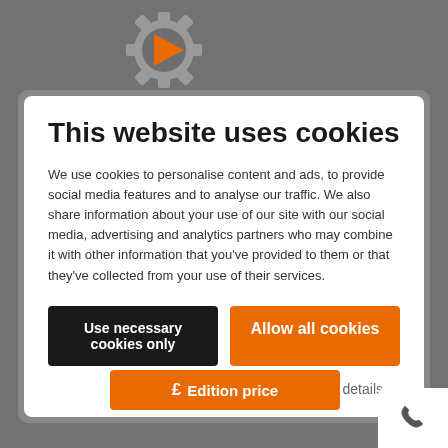[Figure (illustration): Gear/cog icon with orange play triangle in center, on grey background at top of page]
This website uses cookies
We use cookies to personalise content and ads, to provide social media features and to analyse our traffic. We also share information about your use of our site with our social media, advertising and analytics partners who may combine it with other information that you've provided to them or that they've collected from your use of their services.
Use necessary cookies only
Allow all cookies
Show details
[Figure (illustration): Orange button with pound sign and text 'Edition price']
[Figure (illustration): White phone icon button in bottom right corner]